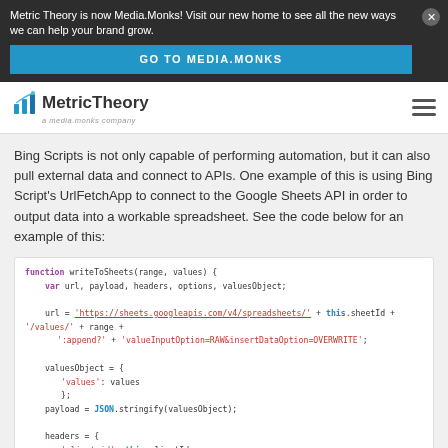Metric Theory is now Media.Monks! Visit our new home to see all the new ways we can help your brand grow.
GO TO MEDIA.MONKS
[Figure (logo): MetricTheory logo - a media.monks company]
Bing Scripts is not only capable of performing automation, but it can also pull external data and connect to APIs. One example of this is using Bing Script's UrlFetchApp to connect to the Google Sheets API in order to output data into a workable spreadsheet. See the code below for an example of this:
[Figure (screenshot): Code block showing JavaScript function writeToSheets(range, values) with url construction to Google Sheets API, valuesObject, payload, headers with client_id, client_secret, authorization, and options with method POST, muteHttpExceptions true, payload]